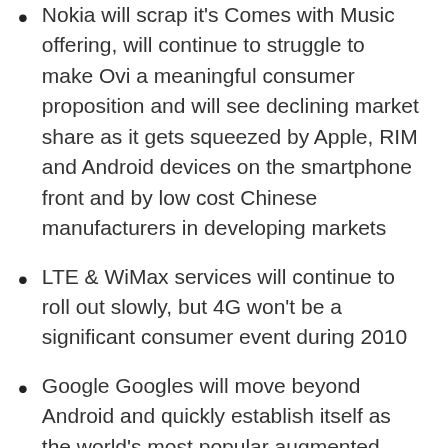Nokia will scrap it's Comes with Music offering, will continue to struggle to make Ovi a meaningful consumer proposition and will see declining market share as it gets squeezed by Apple, RIM and Android devices on the smartphone front and by low cost Chinese manufacturers in developing markets
LTE & WiMax services will continue to roll out slowly, but 4G won't be a significant consumer event during 2010
Google Googles will move beyond Android and quickly establish itself as the world's most popular augmented reality application... leaving companies like Layar & GetFugu in its dust
The current Top 5 companies in my Cabana Mobile Entertainment Top 20 by Revenue (Zed, Index Mobile, UMG Mobile, MobiTV & Buongiorno) will all see mobile revenues decline during 2010. Smaller App-focused publishers will see the greatest revenue gains